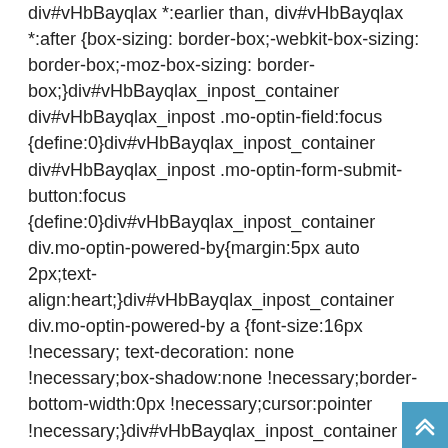div#vHbBayqlax *:earlier than, div#vHbBayqlax *:after {box-sizing: border-box;-webkit-box-sizing: border-box;-moz-box-sizing: border-box;}div#vHbBayqlax_inpost_container div#vHbBayqlax_inpost .mo-optin-field:focus {define:0}div#vHbBayqlax_inpost_container div#vHbBayqlax_inpost .mo-optin-form-submit-button:focus {define:0}div#vHbBayqlax_inpost_container div.mo-optin-powered-by{margin:5px auto 2px;text-align:heart;}div#vHbBayqlax_inpost_container div.mo-optin-powered-by a {font-size:16px !necessary; text-decoration: none !necessary;box-shadow:none !necessary;border-bottom-width:0px !necessary;cursor:pointer !necessary;}div#vHbBayqlax_inpost_container .mo-acceptance-checkbox {background-color: #fff;line-height
[Figure (other): Scroll-to-top button: blue square with two upward chevrons in white, positioned at bottom-right corner]